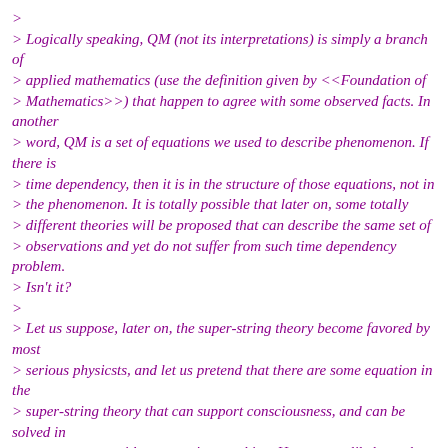> Logically speaking, QM (not its interpretations) is simply a branch of > applied mathematics (use the definition given by <<Foundation of > Mathematics>>) that happen to agree with some observed facts. In another > word, QM is a set of equations we used to describe phenomenon. If there is > time dependency, then it is in the structure of those equations, not in > the phenomenon. It is totally possible that later on, some totally > different theories will be proposed that can describe the same set of > observations and yet do not suffer from such time dependency problem. > Isn't it? > > Let us suppose, later on, the super-string theory become favored by most > serious physicsts, and let us pretend that there are some equation in the > super-string theory that can support consciousness, and can be solved in > constant steps with some turing machine. However unlikely, such